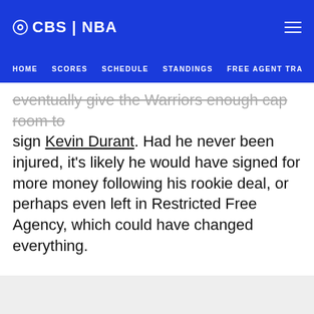CBS | NBA — HOME  SCORES  SCHEDULE  STANDINGS  FREE AGENT TRA
eventually give the Warriors enough cap room to sign Kevin Durant. Had he never been injured, it's likely he would have signed for more money following his rookie deal, or perhaps even left in Restricted Free Agency, which could have changed everything.